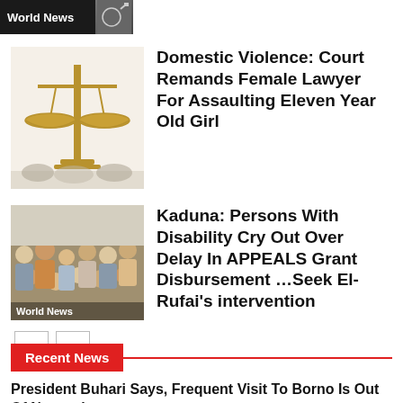World News
Domestic Violence: Court Remands Female Lawyer For Assaulting Eleven Year Old Girl
Kaduna: Persons With Disability Cry Out Over Delay In APPEALS Grant Disbursement …Seek El-Rufai's intervention
Recent News
President Buhari Says, Frequent Visit To Borno Is Out Of Necessity
August 29, 2022